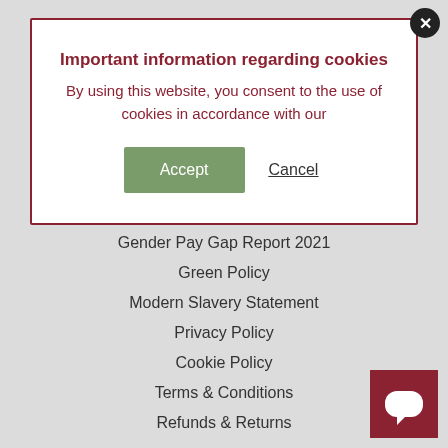Important information regarding cookies
By using this website, you consent to the use of cookies in accordance with our
Accept   Cancel
Call Recording Policy
Gender Pay Gap Report 2021
Green Policy
Modern Slavery Statement
Privacy Policy
Cookie Policy
Terms & Conditions
Refunds & Returns